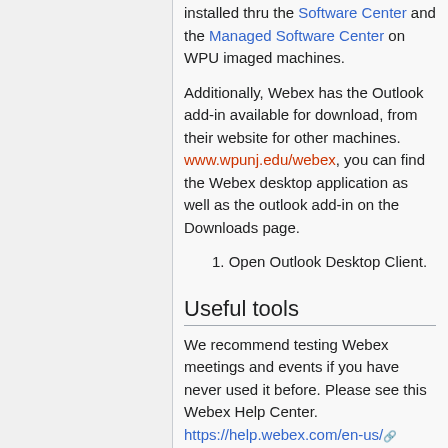installed thru the Software Center and the Managed Software Center on WPU imaged machines.
Additionally, Webex has the Outlook add-in available for download, from their website for other machines. www.wpunj.edu/webex, you can find the Webex desktop application as well as the outlook add-in on the Downloads page.
1. Open Outlook Desktop Client.
Useful tools
We recommend testing Webex meetings and events if you have never used it before. Please see this Webex Help Center. https://help.webex.com/en-us/
1. By default, whoever creates the meeting is the Host. You can